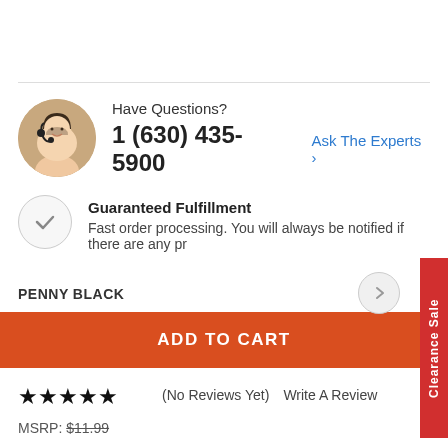[Figure (photo): Customer service representative woman with headset, circular avatar photo]
Have Questions?
1 (630) 435-5900  Ask The Experts >
[Figure (illustration): Gray circle with checkmark icon for Guaranteed Fulfillment]
Guaranteed Fulfillment
Fast order processing. You will always be notified if there are any pr
PENNY BLACK
ADD TO CART
★★★★★ (No Reviews Yet) Write A Review
MSRP: $11.99
Clearance Sale